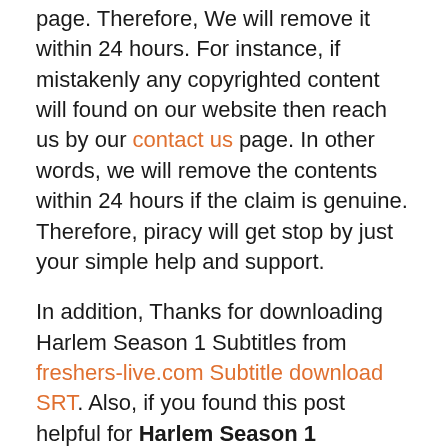page. Therefore, We will remove it within 24 hours. For instance, if mistakenly any copyrighted content will found on our website then reach us by our contact us page. In other words, we will remove the contents within 24 hours if the claim is genuine. Therefore, piracy will get stop by just your simple help and support.
In addition, Thanks for downloading Harlem Season 1 Subtitles from freshers-live.com Subtitle download SRT. Also, if you found this post helpful for Harlem Season 1 Subtitles you can also help other peoples by sharing this post on social media platforms.
Netflix Series, Series Subtitles
Harlem Season 1 english subtitles, Harlem Season 1 srt download, Harlem Season 1 Subtitle